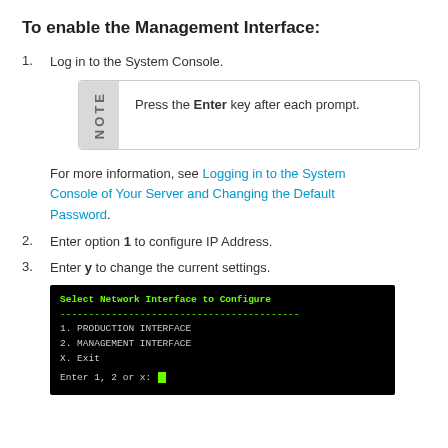To enable the Management Interface:
Log in to the System Console.
NOTE: Press the Enter key after each prompt.
For more information, see Logging in to the System Console of Your Server and Changing the Default Password.
Enter option 1 to configure IP Address.
Enter y to change the current settings.
[Figure (screenshot): Terminal screenshot showing 'Select Network Interface to Configure' menu with options: 1. PRODUCTION INTERFACE, 2. MANAGEMENT INTERFACE, X. Exit, and prompt 'Enter 1, 2 or x:' with green cursor.]